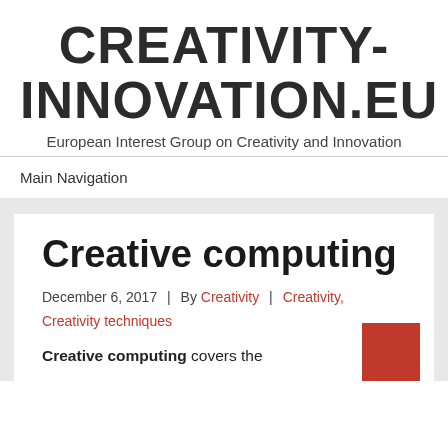CREATIVITY-INNOVATION.EU
European Interest Group on Creativity and Innovation
Main Navigation
Creative computing
December 6, 2017  |  By Creativity  |  Creativity, Creativity techniques
Creative computing covers the